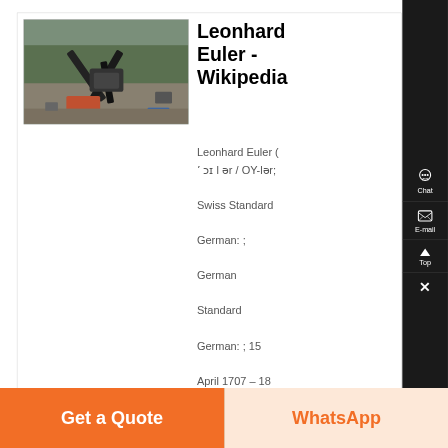[Figure (photo): Aerial or elevated view of industrial machinery/crusher equipment at a gravel or mining site, with conveyor belts spread out, blue branding logo visible in lower right.]
Leonhard Euler - Wikipedia
Leonhard Euler ( ʼ ɔɪ l ər / OY-lər; Swiss Standard German: ; German Standard German: ; 15 April 1707 – 18 September 1783) was a Swiss ,...
[Figure (screenshot): Chat support icon (headphones) with label 'Chat']
[Figure (screenshot): E-mail icon with label 'E-mail']
[Figure (screenshot): Top arrow icon with label 'Top']
[Figure (screenshot): Close X button]
Get a Quote
WhatsApp